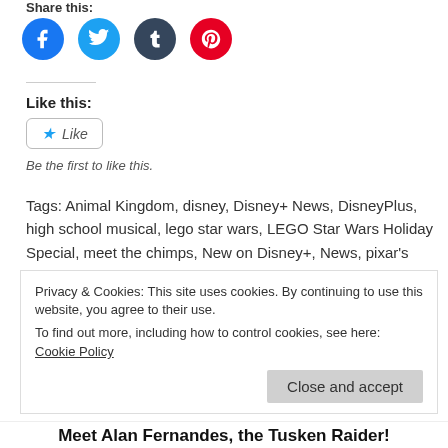Share this:
[Figure (other): Social share buttons: Facebook (blue circle), Twitter (light blue circle), Tumblr (dark blue circle), Pinterest (red circle)]
Like this:
Like
Be the first to like this.
Tags: Animal Kingdom, disney, Disney+ News, DisneyPlus, high school musical, lego star wars, LEGO Star Wars Holiday Special, meet the chimps, New on Disney+, News, pixar's soul, skywalking, Soul, star wars, Streaming New, The Right Stuff
Privacy & Cookies: This site uses cookies. By continuing to use this website, you agree to their use.
To find out more, including how to control cookies, see here: Cookie Policy
Meet Alan Fernandes, the Tusken Raider!